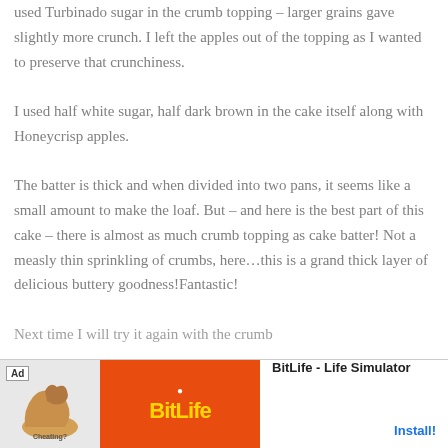used Turbinado sugar in the crumb topping – larger grains gave slightly more crunch. I left the apples out of the topping as I wanted to preserve that crunchiness.

I used half white sugar, half dark brown in the cake itself along with Honeycrisp apples.

The batter is thick and when divided into two pans, it seems like a small amount to make the loaf. But – and here is the best part of this cake – there is almost as much crumb topping as cake batter! Not a measly thin sprinkling of crumbs, here…this is a grand thick layer of delicious buttery goodness!Fantastic!

Next time I will try it again with the crumb...
[Figure (other): Advertisement banner for BitLife - Life Simulator app, showing Ad label, flexed arm icon with 'Cheating?' text, orange BitLife logo area, and Install button]